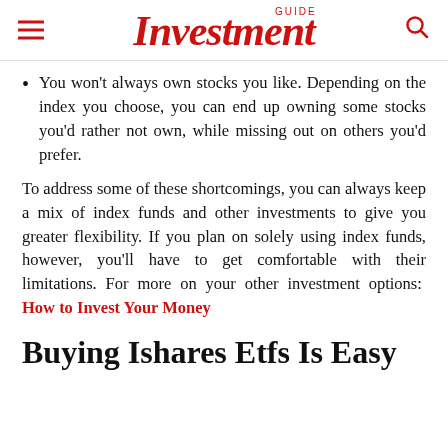GUIDE Investment
You won't always own stocks you like. Depending on the index you choose, you can end up owning some stocks you'd rather not own, while missing out on others you'd prefer.
To address some of these shortcomings, you can always keep a mix of index funds and other investments to give you greater flexibility. If you plan on solely using index funds, however, you'll have to get comfortable with their limitations. For more on your other investment options:  How to Invest Your Money
Buying Ishares Etfs Is Easy